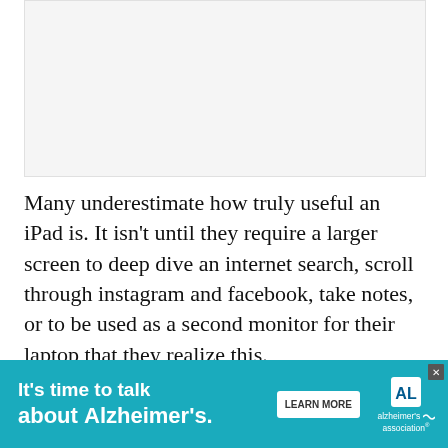[Figure (other): Advertisement placeholder area (light gray rectangle)]
Many underestimate how truly useful an iPad is. It isn't until they require a larger screen to deep dive an internet search, scroll through instagram and facebook, take notes, or to be used as a second monitor for their laptop that they realize this.
The iPad's large display for those reading bo... on isn't
[Figure (infographic): Alzheimer's Association advertisement banner: 'It's time to talk about Alzheimer's.' with LEARN MORE button and Alzheimer's Association logo. Teal/turquoise background with close button (X).]